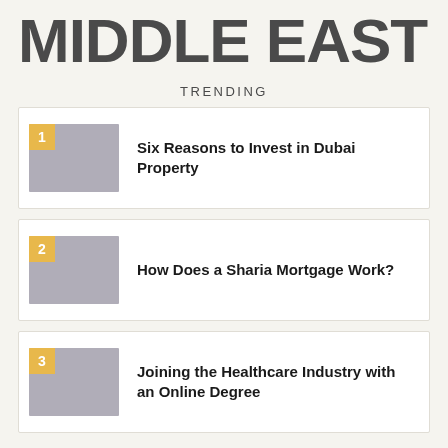MIDDLE EAST
TRENDING
1 Six Reasons to Invest in Dubai Property
2 How Does a Sharia Mortgage Work?
3 Joining the Healthcare Industry with an Online Degree